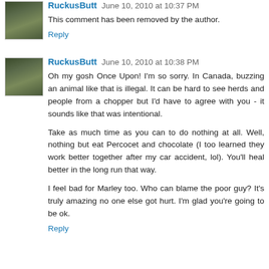[Figure (photo): Small avatar photo of a groundhog or similar animal in grass, top-left of first comment]
RuckusButt June 10, 2010 at 10:37 PM
This comment has been removed by the author.
Reply
[Figure (photo): Small avatar photo of a groundhog or similar animal in grass, top-left of second comment]
RuckusButt June 10, 2010 at 10:38 PM
Oh my gosh Once Upon! I'm so sorry. In Canada, buzzing an animal like that is illegal. It can be hard to see herds and people from a chopper but I'd have to agree with you - it sounds like that was intentional.
Take as much time as you can to do nothing at all. Well, nothing but eat Percocet and chocolate (I too learned they work better together after my car accident, lol). You'll heal better in the long run that way.
I feel bad for Marley too. Who can blame the poor guy? It's truly amazing no one else got hurt. I'm glad you're going to be ok.
Reply